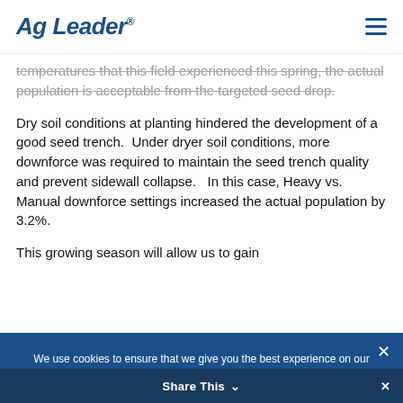Ag Leader®
temperatures that this field experienced this spring, the actual population is acceptable from the targeted seed drop.
Dry soil conditions at planting hindered the development of a good seed trench.  Under dryer soil conditions, more downforce was required to maintain the seed trench quality and prevent sidewall collapse.   In this case, Heavy vs. Manual downforce settings increased the actual population by 3.2%.
This growing season will allow us to gain
We use cookies to ensure that we give you the best experience on our website. If you continue to use this site we will assume that you are happy with it.
Share This